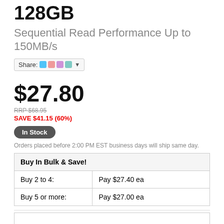128GB
Sequential Read Performance Up to 150MB/s
Share: [icons] ▼
$27.80
RRP $68.95
SAVE $41.15 (60%)
In Stock
Orders placed before 2:00 PM EST business days will ship same day.
| Buy In Bulk & Save! |
| --- |
| Buy 2 to 4: | Pay $27.40 ea |
| Buy 5 or more: | Pay $27.00 ea |